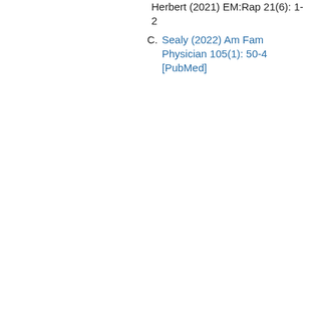Herbert (2021) EM:Rap 21(6): 1-2
Sealy (2022) Am Fam Physician 105(1): 50-4 [PubMed]